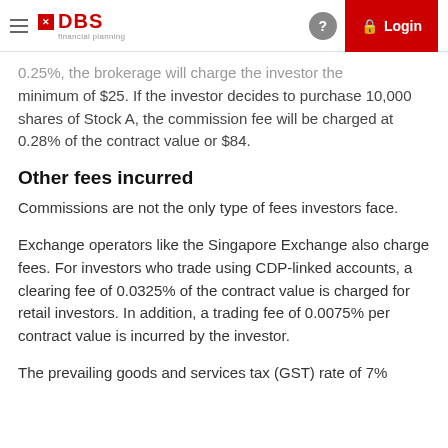DBS financial planning — Login
0.25%, the brokerage will charge the investor the minimum of $25. If the investor decides to purchase 10,000 shares of Stock A, the commission fee will be charged at 0.28% of the contract value or $84.
Other fees incurred
Commissions are not the only type of fees investors face.
Exchange operators like the Singapore Exchange also charge fees. For investors who trade using CDP-linked accounts, a clearing fee of 0.0325% of the contract value is charged for retail investors. In addition, a trading fee of 0.0075% per contract value is incurred by the investor.
The prevailing goods and services tax (GST) rate of 7%